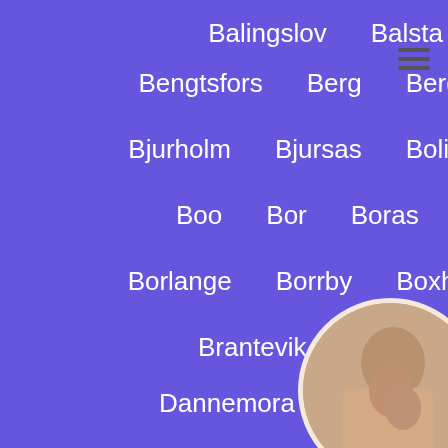Balingslov   Balsta   Bara
Bengtsfors   Berg   Bergvik   Bjorno
Bjurholm   Bjursas   Boliden   Bollnas
Boo   Bor   Boras   Borgholm
Borlange   Borrby   Boxholm   Bracke
Brantevik   Brosarp   Dalby
Dannemora   Degerfors   Docksta
Dorotea   Drag   Drottningholm
Ekeby   Ekero   Eksjo
Fagersta   Falkenberg   Fa...
Falun   Fargelanda   Farjestad...
[Figure (photo): Circular cropped photo of a person, partially visible in bottom right corner]